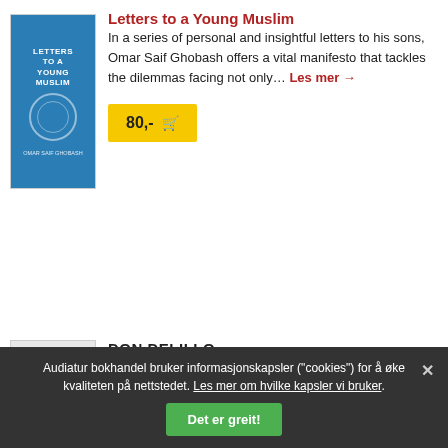Letters to a Young Muslim
In a series of personal and insightful letters to his sons, Omar Saif Ghobash offers a vital manifesto that tackles the dilemmas facing not only… Les mer →
80,- 🛒
DON DELILLO
Zero K
Jeffrey Lockhart's father, Ross, is a billionaire in his sixties, with a younger wife, Artis Martineau, whose health is failing. Ross is the primary… Les mer →
204,- 🛒
Audiatur bokhandel bruker informasjonskapsler ("cookies") for å øke kvaliteten på nettstedet. Les mer om hvilke kapsler vi bruker.
Det er greit!